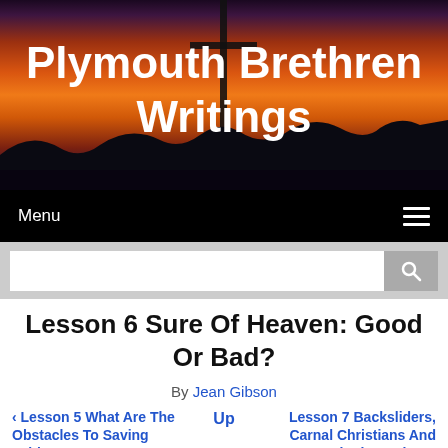[Figure (photo): Banner image with a sunset sky in orange, red and purple tones with a dark cross silhouette and mountain silhouettes, with white bold text reading 'Plymouth Brethren Writings']
Menu ☰
[Figure (screenshot): Search bar with white input field and grey search button with magnifying glass icon]
Lesson 6 Sure Of Heaven: Good Or Bad?
By Jean Gibson
‹ Lesson 5 What Are The Obstacles To Saving Faith?
Up
Lesson 7 Backsliders, Carnal Christians And Sinning Saints ›